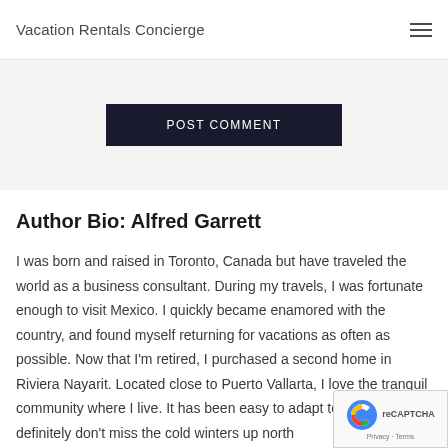Vacation Rentals Concierge
POST COMMENT
Author Bio: Alfred Garrett
I was born and raised in Toronto, Canada but have traveled the world as a business consultant. During my travels, I was fortunate enough to visit Mexico. I quickly became enamored with the country, and found myself returning for vacations as often as possible. Now that I'm retired, I purchased a second home in Riviera Nayarit. Located close to Puerto Vallarta, I love the tranquil community where I live. It has been easy to adapt to daily life and I definitely don't miss the cold winters up north